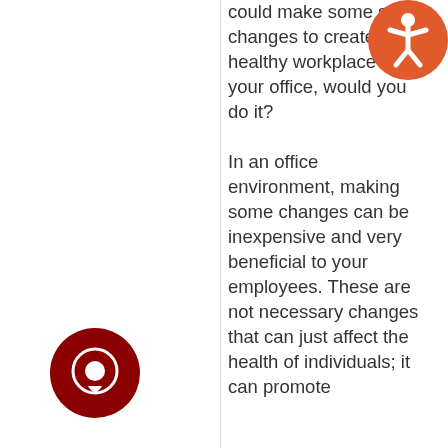could make some small changes to create a healthy workplace at your office, would you do it?

In an office environment, making some changes can be inexpensive and very beneficial to your employees. These are not necessary changes that can just affect the health of individuals; it can promote
[Figure (illustration): Orange accessibility icon — circle with stylized person figure in white]
[Figure (illustration): Dark red circular chat/message icon with white speech bubble]